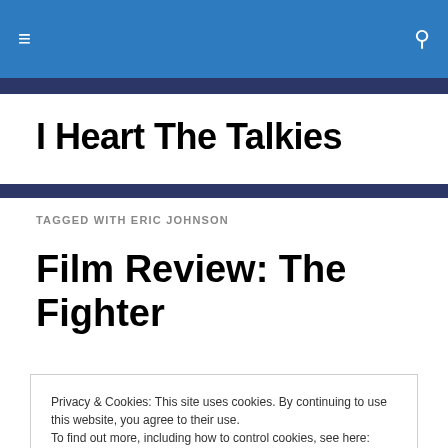I Heart The Talkies
I Heart The Talkies
TAGGED WITH ERIC JOHNSON
Film Review: The Fighter
Privacy & Cookies: This site uses cookies. By continuing to use this website, you agree to their use.
To find out more, including how to control cookies, see here: Cookie Policy
Close and accept